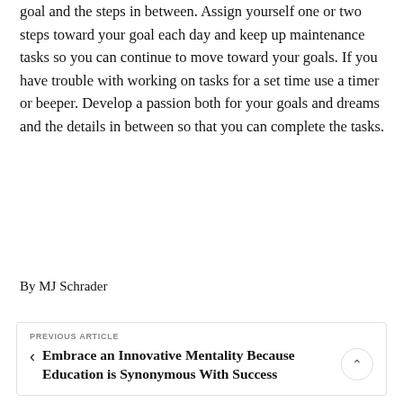goal and the steps in between. Assign yourself one or two steps toward your goal each day and keep up maintenance tasks so you can continue to move toward your goals. If you have trouble with working on tasks for a set time use a timer or beeper. Develop a passion both for your goals and dreams and the details in between so that you can complete the tasks.
By MJ Schrader
PREVIOUS ARTICLE
Embrace an Innovative Mentality Because Education is Synonymous With Success